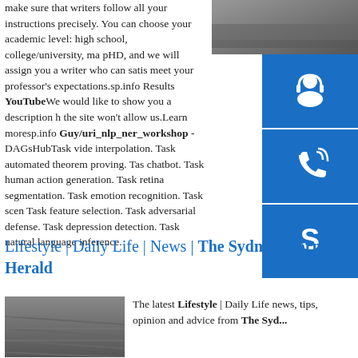[Figure (photo): Dark/grey photo at top right corner of the page]
make sure that writers follow all your instructions precisely. You can choose your academic level: high school, college/university, ma pHD, and we will assign you a writer who can satis meet your professor's expectations.sp.info Results YouTube We would like to show you a description h the site won't allow us.Learn moresp.info Guy/uri_nlp_ner_workshop - DAGsHubTask vide interpolation. Task automated theorem proving. Tas chatbot. Task human action generation. Task retina segmentation. Task emotion recognition. Task scen Task feature selection. Task adversarial defense. Task depression detection. Task natural language inference.
[Figure (other): Blue button with headset/support icon]
[Figure (other): Blue button with phone/call icon]
[Figure (other): Blue button with Skype icon]
Lifestyle | Daily Life | News | The Sydney Morning Herald
[Figure (photo): Photo of stairs/steps at bottom left]
The latest Lifestyle | Daily Life news, tips, opinion and advice from The Syd...